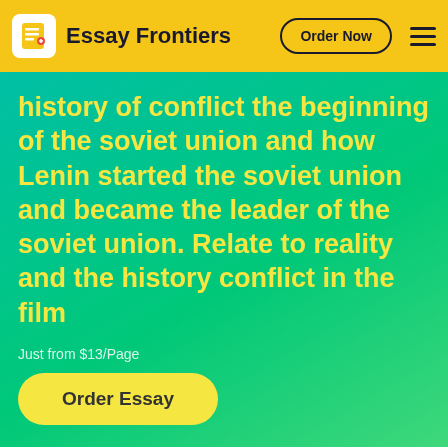Essay Frontiers | Order Now
history of conflict the beginning of the soviet union and how Lenin started the soviet union and became the leader of the soviet union. Relate to reality and the history conflict in the film
Just from $13/Page
Order Essay
Continue to order
Get a quote
Order a unique copy of this